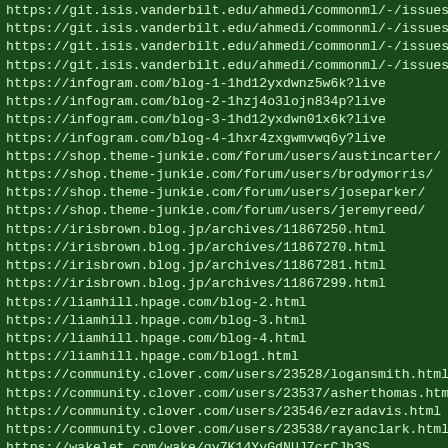https://git.isis.vanderbilt.edu/ahmedi/commonml/-/issues/2
https://git.isis.vanderbilt.edu/ahmedi/commonml/-/issues/3
https://git.isis.vanderbilt.edu/ahmedi/commonml/-/issues/4
https://git.isis.vanderbilt.edu/ahmedi/commonml/-/issues/6
https://infogram.com/blog-1-1hd12yxdwnz5w6k?live
https://infogram.com/blog-2-1hzj4o3lojn834p?live
https://infogram.com/blog-3-1hd12yxdwn01x6k?live
https://infogram.com/blog-4-1hxr4zxgwmvwq6y?live
https://shop.theme-junkie.com/forum/users/austincarter/
https://shop.theme-junkie.com/forum/users/brodymorris/
https://shop.theme-junkie.com/forum/users/joseparker/
https://shop.theme-junkie.com/forum/users/jeremyreed/
https://irisbrown.blog.jp/archives/11867250.html
https://irisbrown.blog.jp/archives/11867270.html
https://irisbrown.blog.jp/archives/11867281.html
https://irisbrown.blog.jp/archives/11867299.html
https://liamhill.hpage.com/blog-2.html
https://liamhill.hpage.com/blog-3.html
https://liamhill.hpage.com/blog-4.html
https://liamhill.hpage.com/blog1.html
https://community.clover.com/users/23528/logansmith.html
https://community.clover.com/users/23537/asherthomas.html
https://community.clover.com/users/23546/ezradavis.html
https://community.clover.com/users/23538/rayanclark.html
https://wakelet.com/wake/gy7K14YvGdNUJ7crCJh3S
https://wakelet.com/wake/QDFw7EISEK6E9U9gj_1OE
https://wakelet.com/wake/RORb_iDRzzhahHA2J6cB8
https://wakelet.com/wake/yxvoKdx7vg21MA7GyToCZ
https://www.classifiedads.com/training_education/2c65xjj7x3
https://...